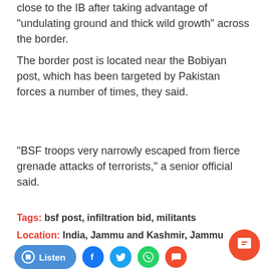close to the IB after taking advantage of "undulating ground and thick wild growth" across the border.
The border post is located near the Bobiyan post, which has been targeted by Pakistan forces a number of times, they said.
"BSF troops very narrowly escaped from fierce grenade attacks of terrorists," a senior official said.
Tags: bsf post, infiltration bid, militants
Location: India, Jammu and Kashmir, Jammu